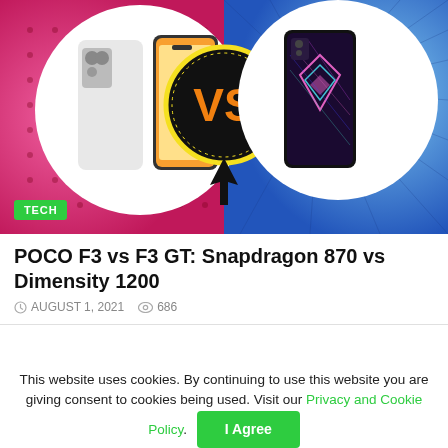[Figure (illustration): Colorful comic-book style VS banner image showing two smartphones facing off. Left phone: white POCO F3 (front and back), right phone: dark POCO F3 GT with geometric/colorful back. Center: large yellow-outlined black circle with 'VS' in orange/yellow letters. Background is pink/magenta on left with dot pattern, blue with ray-burst on right. Black comic-style arrow shapes at bottom center.]
TECH
POCO F3 vs F3 GT: Snapdragon 870 vs Dimensity 1200
AUGUST 1, 2021   686
This website uses cookies. By continuing to use this website you are giving consent to cookies being used. Visit our Privacy and Cookie Policy.
I Agree